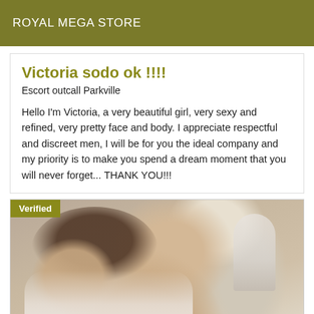ROYAL MEGA STORE
Victoria sodo ok !!!!
Escort outcall Parkville
Hello I'm Victoria, a very beautiful girl, very sexy and refined, very pretty face and body. I appreciate respectful and discreet men, I will be for you the ideal company and my priority is to make you spend a dream moment that you will never forget... THANK YOU!!!
[Figure (photo): Photo of a woman with curly dark hair wearing a white lace top, photographed close-up with a lamp visible in the background. A 'Verified' badge appears in the top-left corner of the image.]